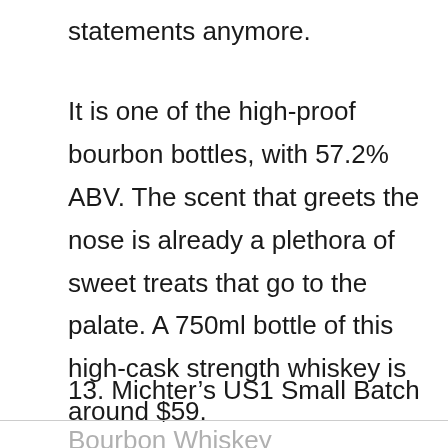statements anymore.
It is one of the high-proof bourbon bottles, with 57.2% ABV. The scent that greets the nose is already a plethora of sweet treats that go to the palate. A 750ml bottle of this high-cask strength whiskey is around $59.
13. Michter’s US1 Small Batch
Bourbon Whiskey